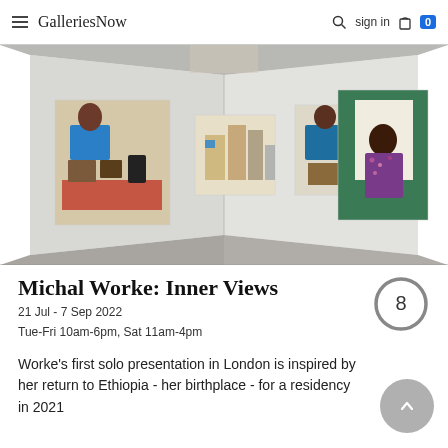GalleriesNow
[Figure (photo): Gallery installation view showing four figurative paintings hung on white walls in a corner gallery space with a concrete floor. Paintings depict figures in various scenes. Natural and artificial lighting.]
Michal Worke: Inner Views
21 Jul - 7 Sep 2022
Tue-Fri 10am-6pm, Sat 11am-4pm
Worke's first solo presentation in London is inspired by her return to Ethiopia - her birthplace - for a residency in 2021